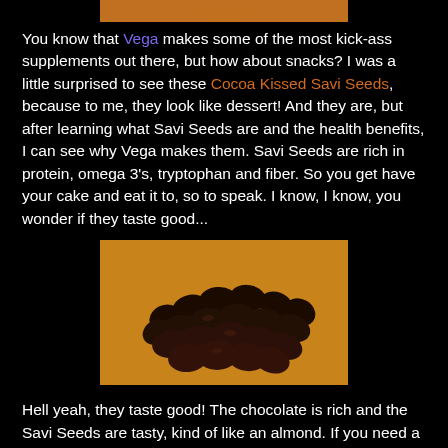[Figure (photo): Partial top image showing orange/brown background, cropped at top of page]
You know that Vega makes some of the most kick-ass supplements out there, but how about snacks? I was a little surprised to see these Cocoa Kissed Savi Seeds, because to me, they look like dessert! And they are, but after learning what Savi Seeds are and the health benefits, I can see why Vega makes them. Savi Seeds are rich in protein, omega 3's, tryptophan and fiber. So you get have your cake and eat it to, so to speak. I know, I know, you wonder if they taste good...
[Figure (photo): Photo of dark chocolate-covered Savi Seeds piled on an orange background]
Hell yeah, they taste good! The chocolate is rich and the Savi Seeds are tasty, kind of like an almond. If you need a post work-out replenishment, these are some monsters. Now are they chocolate candy? Not exactly, but you will be more than satisfied nutritionally and it will most definitely cure your